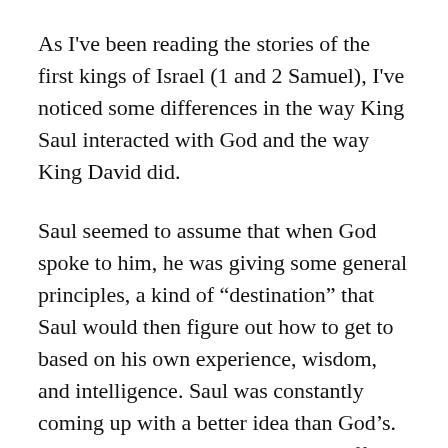As I've been reading the stories of the first kings of Israel (1 and 2 Samuel), I've noticed some differences in the way King Saul interacted with God and the way King David did.
Saul seemed to assume that when God spoke to him, he was giving some general principles, a kind of “destination” that Saul would then figure out how to get to based on his own experience, wisdom, and intelligence. Saul was constantly coming up with a better idea than God’s. Why destroy all the Amalekites’ stuff when we could keep some of it as plunder and offer it as a big sacrifice to God? Saul was constantly bending the his...